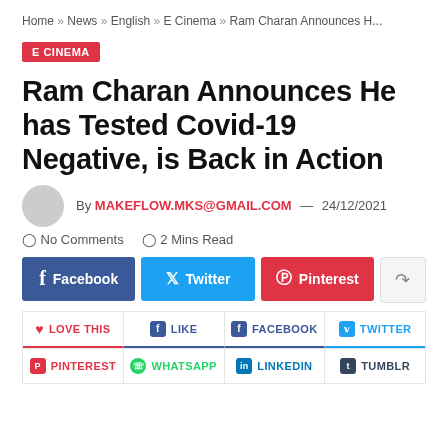Home » News » English » E Cinema » Ram Charan Announces H...
E CINEMA
Ram Charan Announces He has Tested Covid-19 Negative, is Back in Action
By MAKEFLOW.MKS@GMAIL.COM — 24/12/2021
No Comments   2 Mins Read
[Figure (infographic): Social share buttons: Facebook, Twitter, Pinterest, Share]
[Figure (infographic): Reaction buttons row 1: LOVE THIS, LIKE, FACEBOOK, TWITTER; Row 2: PINTEREST, WHATSAPP, LINKEDIN, TUMBLR]